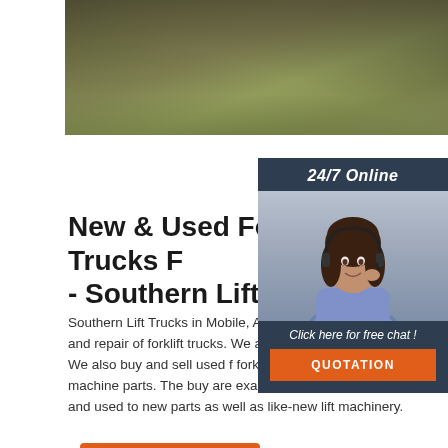[Figure (photo): Aerial/ground view photo of forklift trucks or industrial area, top portion visible]
[Figure (infographic): 24/7 Online chat widget with photo of woman wearing headset, orange QUOTATION button]
New & Used Forklift Trucks F - Southern Lift Trucks
Southern Lift Trucks in Mobile, Alabama provid servicing, and repair of forklift trucks. We are a authorized dealer. We also buy and sell used f forklift trucks, and other lift machine parts. The buy are examined, reconditioned, and used to new parts as well as like-new lift machinery.
Get Price